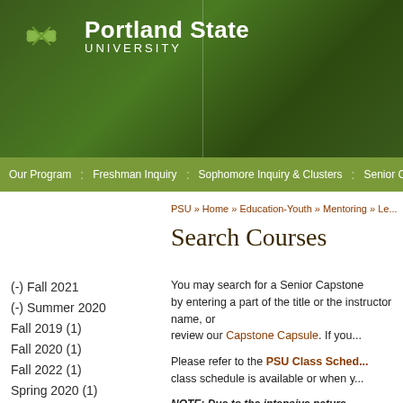[Figure (logo): Portland State University logo and header with green gradient background]
Our Program | Freshman Inquiry | Sophomore Inquiry & Clusters | Senior Cap...
PSU » Home » Education-Youth » Mentoring » Le...
Search Courses
(-) Fall 2021
(-) Summer 2020
Fall 2019 (1)
Fall 2020 (1)
Fall 2022 (1)
Spring 2020 (1)
Spring 2021 (1)
Spring 2022 (1)
Summer 2019 (1)
Summer 2021 (1)
Summer 2022 (1)
Winter 2020 (1)
Winter 2021 (1)
You may search for a Senior Capstone by entering a part of the title or the instructor name, or review our Capstone Capsule. If you...
Please refer to the PSU Class Sched... class schedule is available or when y...
NOTE: Due to the intensive nature... the first day of class if they are goi... demonstrate active participation du... and participation into the final gra...
NOTE: "Sustainability" tagged cou... seek approval from Joseph Maser,...